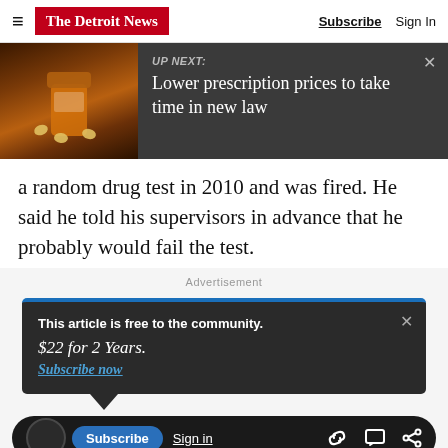The Detroit News — Subscribe  Sign In
[Figure (screenshot): UP NEXT banner with pill bottle image: Lower prescription prices to take time in new law]
a random drug test in 2010 and was fired. He said he told his supervisors in advance that he probably would fail the test.
Advertisement
This article is free to the community. $22 for 2 Years. Subscribe now
Subscribe  Sign in